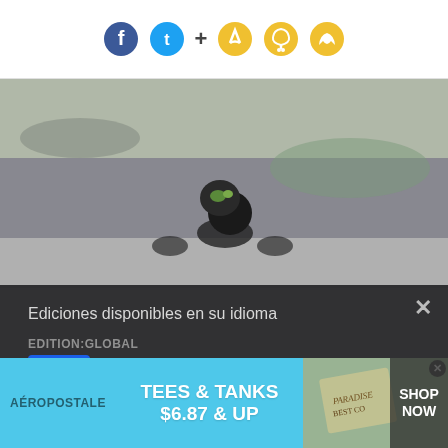[Figure (screenshot): Top social sharing bar with Facebook, Twitter, plus sign, bookmark, bell, and chat icons on white background]
[Figure (photo): Motorcycle racer with colorful helmet leaning into a track curve, blurred background]
Ediciones disponibles en su idioma
EDITION:GLOBAL
[Figure (illustration): Globe icon on blue background representing Global edition]
EDITION:USA
[Figure (illustration): USA flag icon]
EDITION:AUSTRALIA
[Figure (infographic): Aeropostale advertisement banner: TEES & TANKS $6.87 & UP with SHOP NOW button]